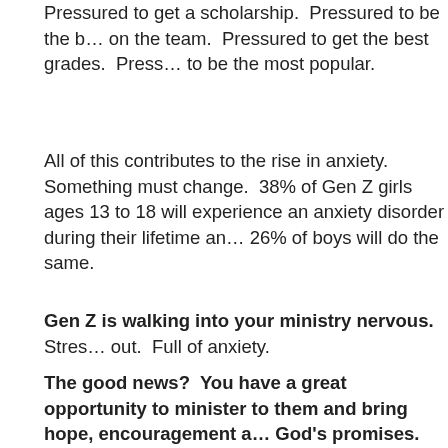Pressured to get a scholarship.  Pressured to be the b… on the team.  Pressured to get the best grades.  Press… to be the most popular.
All of this contributes to the rise in anxiety.  Something must change.  38% of Gen Z girls ages 13 to 18 will experience an anxiety disorder during their lifetime an… 26% of boys will do the same.
Gen Z is walking into your ministry nervous.  Stres… out.  Full of anxiety.
The good news?  You have a great opportunity to minister to them and bring hope, encouragement a… God's promises.  And you can equip their parents … speak the same to them.